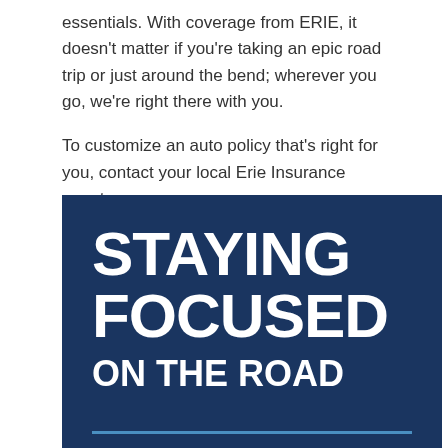essentials. With coverage from ERIE, it doesn't matter if you're taking an epic road trip or just around the bend; wherever you go, we're right there with you.
To customize an auto policy that's right for you, contact your local Erie Insurance agent.
[Figure (infographic): Dark navy blue banner with large bold white uppercase text reading 'STAYING FOCUSED ON THE ROAD' with a light blue horizontal divider line at the bottom.]